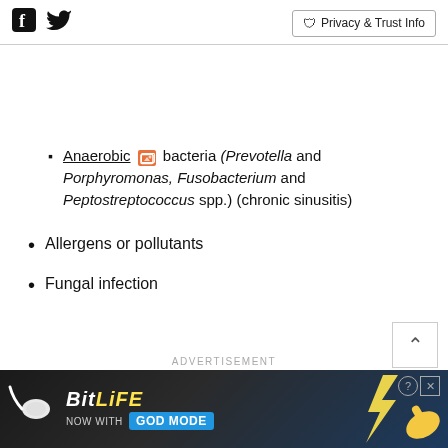Social icons (Facebook, Twitter) | Privacy & Trust Info
Anaerobic bacteria (Prevotella and Porphyromonas, Fusobacterium and Peptostreptococcus spp.) (chronic sinusitis)
Allergens or pollutants
Fungal infection
[Figure (photo): Advertisement banner: BitLife - Now with God Mode]
ADVERTISEMENT